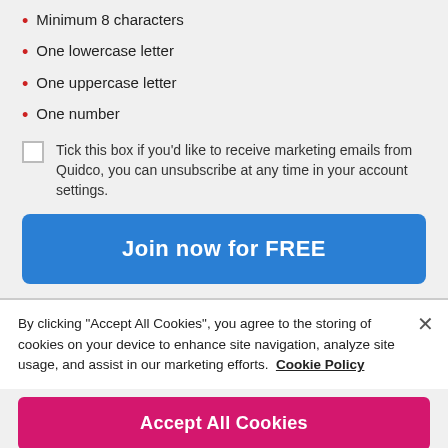Minimum 8 characters
One lowercase letter
One uppercase letter
One number
Tick this box if you'd like to receive marketing emails from Quidco, you can unsubscribe at any time in your account settings.
Join now for FREE
By clicking “Accept All Cookies”, you agree to the storing of cookies on your device to enhance site navigation, analyze site usage, and assist in our marketing efforts. Cookie Policy
Accept All Cookies
Cookie Settings